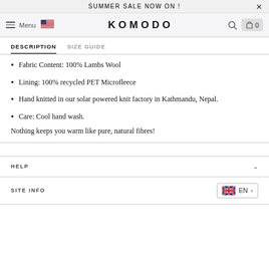SUMMER SALE NOW ON !
[Figure (screenshot): Komodo brand navigation bar with hamburger menu, US flag, KOMODO logo, search icon, and cart icon showing 0 items]
DESCRIPTION   SIZE GUIDE
Fabric Content: 100% Lambs Wool
Lining: 100% recycled PET Microfleece
Hand knitted in our solar powered knit factory in Kathmandu, Nepal.
Care: Cool hand wash.
Nothing keeps you warm like pure, natural fibres!
HELP
SITE INFO